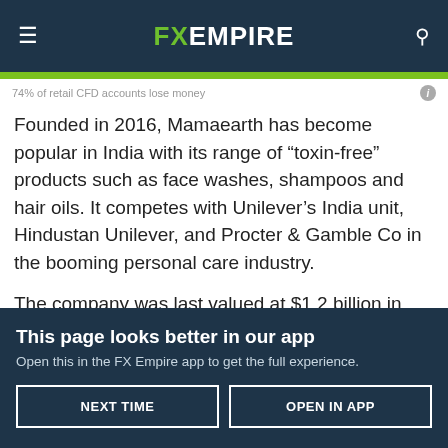FX EMPIRE
74% of retail CFD accounts lose money
Founded in 2016, Mamaearth has become popular in India with its range of “toxin-free” products such as face washes, shampoos and hair oils. It competes with Unilever’s India unit, Hindustan Unilever, and Procter & Gamble Co in the booming personal care industry.
The company was last valued at $1.2 billion in January this year when it raised fresh funds from investors including
This page looks better in our app
Open this in the FX Empire app to get the full experience.
NEXT TIME    OPEN IN APP